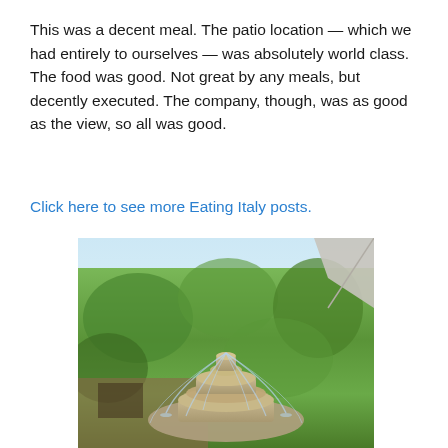This was a decent meal. The patio location — which we had entirely to ourselves — was absolutely world class. The food was good. Not great by any meals, but decently executed. The company, though, was as good as the view, so all was good.
Click here to see more Eating Italy posts.
[Figure (photo): Outdoor patio with a decorative stone fountain in the foreground, water jets arcing from the basin. Background shows an ivy-covered building wall, green trees, and a white patio umbrella visible at the top right.]